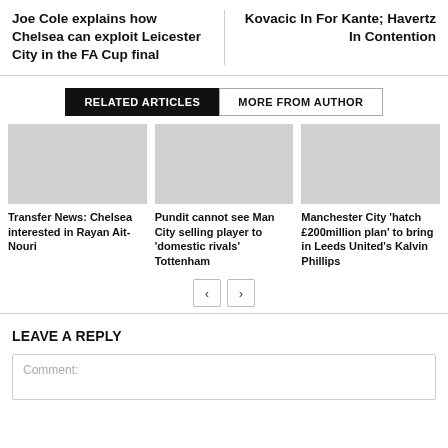Joe Cole explains how Chelsea can exploit Leicester City in the FA Cup final
Kovacic In For Kante; Havertz In Contention
RELATED ARTICLES | MORE FROM AUTHOR
Transfer News: Chelsea interested in Rayan Ait-Nouri
Pundit cannot see Man City selling player to 'domestic rivals' Tottenham
Manchester City 'hatch £200million plan' to bring in Leeds United's Kalvin Phillips
LEAVE A REPLY
Comment: